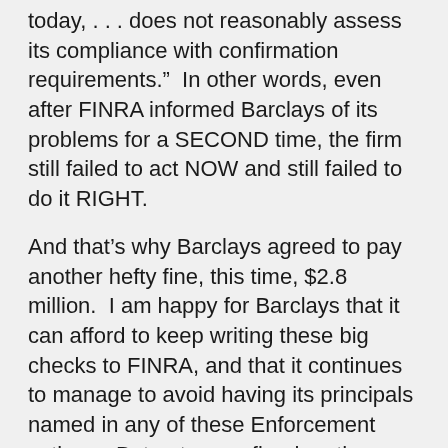today, . . . does not reasonably assess its compliance with confirmation requirements.”  In other words, even after FINRA informed Barclays of its problems for a SECOND time, the firm still failed to act NOW and still failed to do it RIGHT.
And that’s why Barclays agreed to pay another hefty fine, this time, $2.8 million.  I am happy for Barclays that it can afford to keep writing these big checks to FINRA, and that it continues to manage to avoid having its principals named in any of these Enforcement actions.  But not every firm has the financial luxury that Barclays does to submit AWC after AWC after AWC.  (Only two so far this year, which may seem like a lot, given that we’re only half way done with 2022, but, to keep it in perspective,